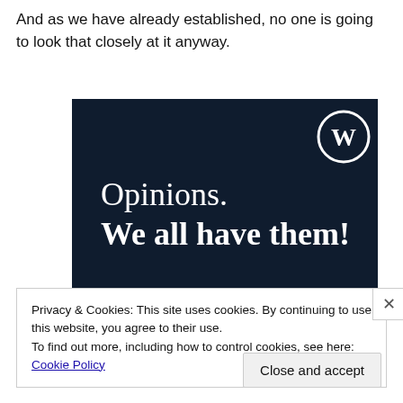And as we have already established, no one is going to look that closely at it anyway.
[Figure (illustration): Dark navy blue banner with WordPress logo (W in a circle) in the top right. Text reads 'Opinions.' in white serif font and 'We all have them!' in white bold serif font. Pink button at bottom left and white circle at bottom right.]
Privacy & Cookies: This site uses cookies. By continuing to use this website, you agree to their use.
To find out more, including how to control cookies, see here: Cookie Policy
Close and accept